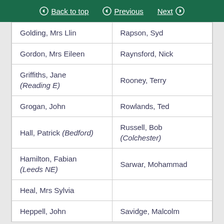Back to top | Previous | Next
| Golding, Mrs Llin | Rapson, Syd |
| Gordon, Mrs Eileen | Raynsford, Nick |
| Griffiths, Jane (Reading E) | Rooney, Terry |
| Grogan, John | Rowlands, Ted |
| Hall, Patrick (Bedford) | Russell, Bob (Colchester) |
| Hamilton, Fabian (Leeds NE) | Sarwar, Mohammad |
| Heal, Mrs Sylvia |  |
| Heppell, John | Savidge, Malcolm |